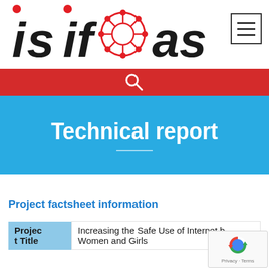[Figure (logo): ISIF Asia logo with red network/wheel icon between 'isif' and 'as' text, plus hamburger menu icon in top right]
[Figure (other): Red search bar with white magnifying glass icon]
Technical report
Project factsheet information
| Project Title |  |
| --- | --- |
| Project Title | Increasing the Safe Use of Internet b... Women and Girls |